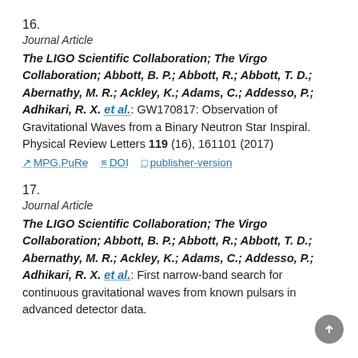16.
Journal Article
The LIGO Scientific Collaboration; The Virgo Collaboration; Abbott, B. P.; Abbott, R.; Abbott, T. D.; Abernathy, M. R.; Ackley, K.; Adams, C.; Addesso, P.; Adhikari, R. X. et al.: GW170817: Observation of Gravitational Waves from a Binary Neutron Star Inspiral. Physical Review Letters 119 (16), 161101 (2017)
MPG.PuRe   DOI   publisher-version
17.
Journal Article
The LIGO Scientific Collaboration; The Virgo Collaboration; Abbott, B. P.; Abbott, R.; Abbott, T. D.; Abernathy, M. R.; Ackley, K.; Adams, C.; Addesso, P.; Adhikari, R. X. et al.: First narrow-band search for continuous gravitational waves from known pulsars in advanced detector data.